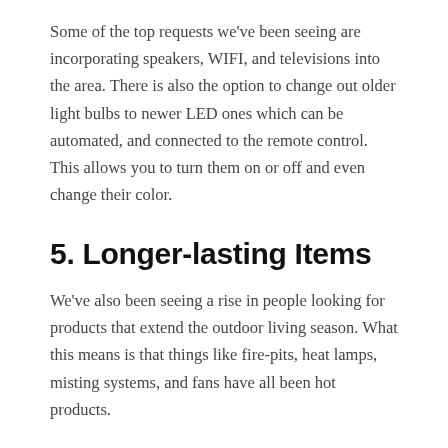Some of the top requests we've been seeing are incorporating speakers, WIFI, and televisions into the area. There is also the option to change out older light bulbs to newer LED ones which can be automated, and connected to the remote control. This allows you to turn them on or off and even change their color.
5. Longer-lasting Items
We've also been seeing a rise in people looking for products that extend the outdoor living season. What this means is that things like fire-pits, heat lamps, misting systems, and fans have all been hot products.
These items are trending seeing as people want to extend the amount of time they can use their outdoor space. These are especially great additions to a patio or